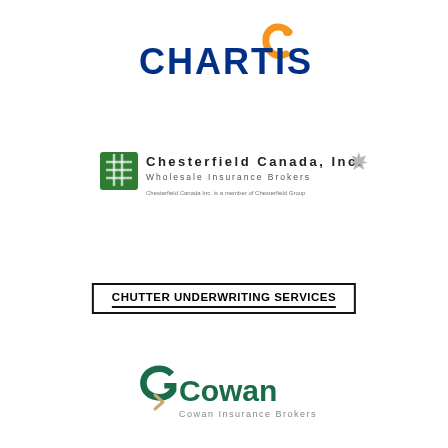[Figure (logo): Chartis logo with blue text 'CHARTIS' and orange C swoosh icon]
[Figure (logo): Chesterfield Canada, Inc. logo with green woven square icon, text 'Chesterfield Canada, Inc. Wholesale Insurance Brokers', maple leaf icon, and tagline 'Chesterfield Canada Inc. is a member of Chesterfield Group']
[Figure (logo): Chutter Underwriting Services logo in a bordered box with double underline]
[Figure (logo): Cowan Insurance Brokers logo with green G arrow icon and 'Cowan' text and 'Cowan Insurance Brokers' tagline]